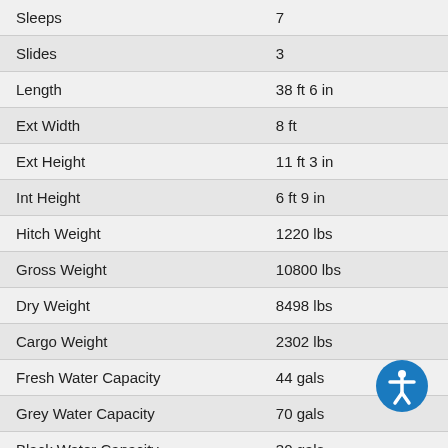| Specification | Value |
| --- | --- |
| Sleeps | 7 |
| Slides | 3 |
| Length | 38 ft 6 in |
| Ext Width | 8 ft |
| Ext Height | 11 ft 3 in |
| Int Height | 6 ft 9 in |
| Hitch Weight | 1220 lbs |
| Gross Weight | 10800 lbs |
| Dry Weight | 8498 lbs |
| Cargo Weight | 2302 lbs |
| Fresh Water Capacity | 44 gals |
| Grey Water Capacity | 70 gals |
| Black Water Capacity | 30 gals |
| Furnace BTU | 35000 btu |
| Available Beds | Two Queen |
| Refrigerator Type | 12V |